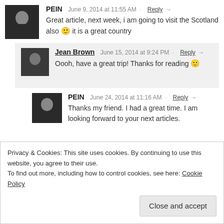PEIN  June 9, 2014 at 11:55 AM · Reply →
Great article, next week, i am going to visit the Scotland also 🙂 it is a great country
Jean Brown  June 15, 2014 at 9:24 PM · Reply →
Oooh, have a great trip! Thanks for reading 🙂
PEIN  June 24, 2014 at 11:16 AM · Reply →
Thanks my friend. I had a great time. I am looking forward to your next articles. 🙂
Privacy & Cookies: This site uses cookies. By continuing to use this website, you agree to their use.
To find out more, including how to control cookies, see here: Cookie Policy
Close and accept